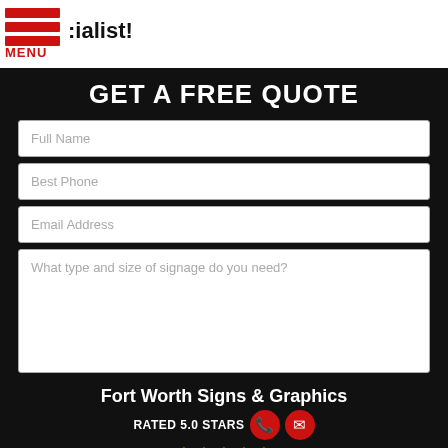MENU | :ialist!
GET A FREE QUOTE
Full Name
Best Phone
Email Address
What type and size of signage do you need?
REQUEST MY QUOTE
Fort Worth Signs & Graphics
RATED 5.0 STARS